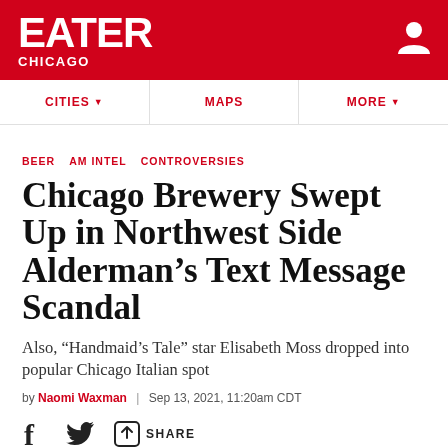EATER CHICAGO
BEER   AM INTEL   CONTROVERSIES
Chicago Brewery Swept Up in Northwest Side Alderman’s Text Message Scandal
Also, “Handmaid’s Tale” star Elisabeth Moss dropped into popular Chicago Italian spot
by Naomi Waxman | Sep 13, 2021, 11:20am CDT